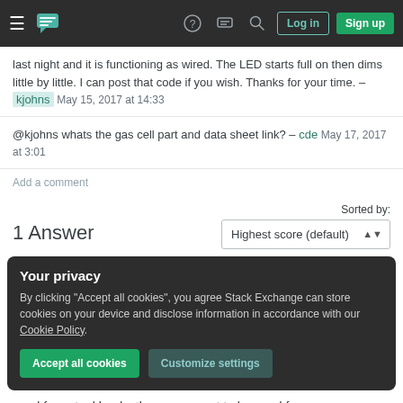Navigation bar with hamburger menu, logo, help, chat, search icons, Log in and Sign up buttons
last night and it is functioning as wired. The LED starts full on then dims little by little. I can post that code if you wish. Thanks for your time. – kjohns May 15, 2017 at 14:33
@kjohns whats the gas cell part and data sheet link? – cde May 17, 2017 at 3:01
Add a comment
1 Answer
Sorted by: Highest score (default)
Your privacy
By clicking "Accept all cookies", you agree Stack Exchange can store cookies on your device and disclose information in accordance with our Cookie Policy.
Accept all cookies  Customize settings
used for actual loads, they are meant to be used for